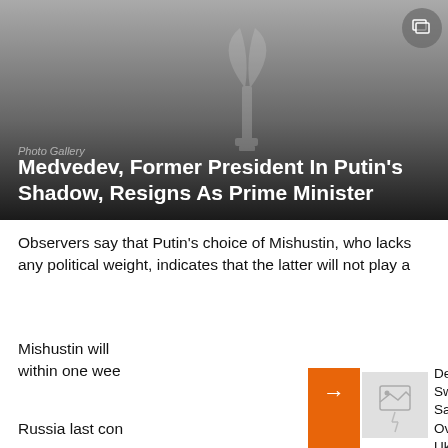[Figure (photo): Hero image with dark gradient background and a faint leaf/torch logo watermark. Photo gallery label and article headline overlaid at bottom.]
Photo Gallery
Medvedev, Former President In Putin's Shadow, Resigns As Prime Minister
Observers say that Putin's choice of Mishustin, who lacks any political weight, indicates that the latter will not play a[ny significant role].
Mishustin will [be formally confirmed] within one wee[k].
Russia last co[nfirmed...]
[Figure (photo): Small thumbnail image placeholder with broken image icon]
Despite Sweeping Sanctions Over The Ukraine War, Russian Unemployment Touches Post-Soviet Low. Here's Why.